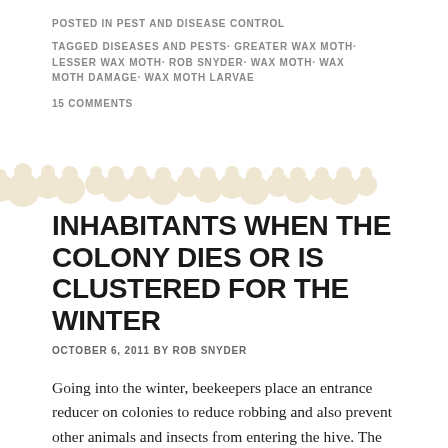POSTED IN PEST AND DISEASE CONTROL
TAGGED DISEASES AND PESTS· GREATER WAX MOTH· LESSER WAX MOTH· ROB SNYDER· WAX MOTH· WAX MOTH DAMAGE· WAX MOTH LARVAE
15 COMMENTS
[Figure (illustration): Decorative divider made of repeating circle/dot shapes in a light beige/cream color arranged in a horizontal band]
INHABITANTS WHEN THE COLONY DIES OR IS CLUSTERED FOR THE WINTER
OCTOBER 6, 2011 BY ROB SNYDER
Going into the winter, beekeepers place an entrance reducer on colonies to reduce robbing and also prevent other animals and insects from entering the hive. The